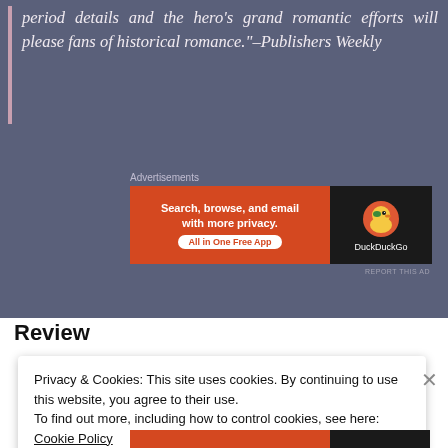period details and the hero's grand romantic efforts will please fans of historical romance."–Publishers Weekly
[Figure (screenshot): DuckDuckGo advertisement banner: orange left side with text 'Search, browse, and email with more privacy. All in One Free App' and dark right side with DuckDuckGo duck logo and brand name.]
Advertisements
Review
Privacy & Cookies: This site uses cookies. By continuing to use this website, you agree to their use.
To find out more, including how to control cookies, see here: Cookie Policy